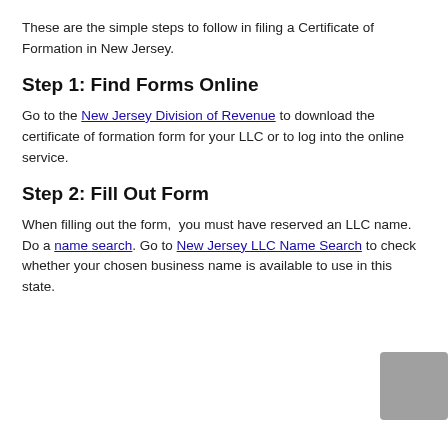These are the simple steps to follow in filing a Certificate of Formation in New Jersey.
Step 1: Find Forms Online
Go to the New Jersey Division of Revenue to download the certificate of formation form for your LLC or to log into the online service.
Step 2: Fill Out Form
When filling out the form, you must have reserved an LLC name. Do a name search. Go to New Jersey LLC Name Search to check whether your chosen business name is available to use in this state.